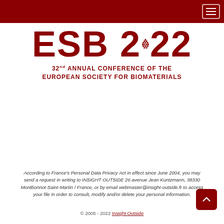ESB 2022 — 32nd ANNUAL CONFERENCE OF THE EUROPEAN SOCIETY FOR BIOMATERIALS
According to France's Personal Data Privacy Act in effect since June 2004, you may send a request in writing to INSIGHT OUTSIDE 26 avenue Jean Kuntzmann, 38330 Montbonnot-Saint-Martin / France, or by email webmaster@insight-outside.fr to access your file in order to consult, modify and/or delete your personal information.
© 2005 - 2022 Insight Outside